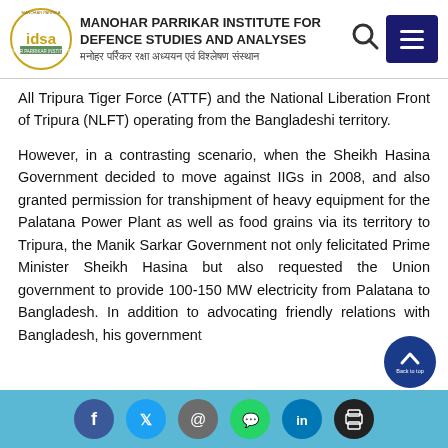MANOHAR PARRIKAR INSTITUTE FOR DEFENCE STUDIES AND ANALYSES | मनोहर पर्रिकर रक्षा अध्ययन एवं विश्लेषण संस्थान
All Tripura Tiger Force (ATTF) and the National Liberation Front of Tripura (NLFT) operating from the Bangladeshi territory.
However, in a contrasting scenario, when the Sheikh Hasina Government decided to move against IIGs in 2008, and also granted permission for transhipment of heavy equipment for the Palatana Power Plant as well as food grains via its territory to Tripura, the Manik Sarkar Government not only felicitated Prime Minister Sheikh Hasina but also requested the Union government to provide 100-150 MW electricity from Palatana to Bangladesh. In addition to advocating friendly relations with Bangladesh, his government
Social media links: Facebook, Twitter, Email, WhatsApp, LinkedIn, Print